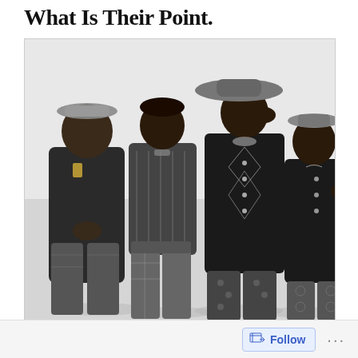What Is Their Point.
[Figure (photo): Black and white promotional photo of four men in early 1990s hip-hop/Afrocentric fashion, standing against a light background. From left to right: a heavyset man in a dark jacket with an ankh necklace and patterned pants; a slender man in a patterned short-sleeve shirt and baggy plaid pants; a man in the center wearing a wide-brim hat, beaded necklace, and a sequined/beaded patterned jacket with patterned pants, hand raised to his hat; and a shorter man on the right in a dark jacket and patterned pants, looking upward.]
Follow ...